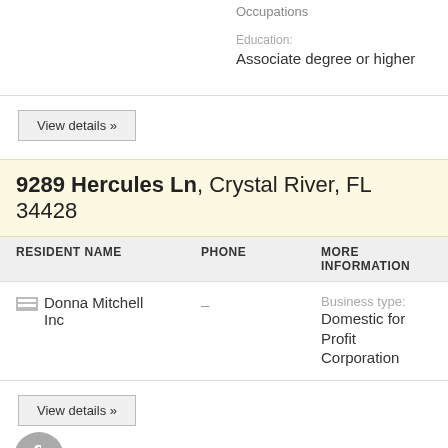Occupations
Education: Associate degree or higher
View details »
9289 Hercules Ln, Crystal River, FL 34428
| RESIDENT NAME | PHONE | MORE INFORMATION |
| --- | --- | --- |
| Donna Mitchell Inc | – | Business type: Domestic for Profit Corporation |
View details »